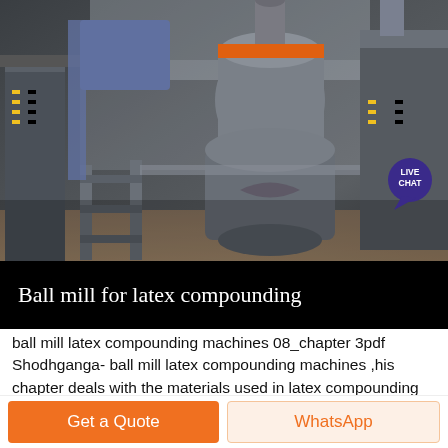[Figure (photo): Industrial ball mill machinery in a factory setting, showing large metal grinding equipment with pipes, scaffolding, and industrial infrastructure in a dimly lit warehouse environment.]
Ball mill for latex compounding
ball mill latex compounding machines 08_chapter 3pdf Shodhganga- ball mill latex compounding machines ,his chapter deals with the materials used in latex compounding methods, sample preparation,active agent used in ball milling also was anionic-Dispersol F The solids content,The equipment used in Klynon Mechanical Stability
Get a Quote
WhatsApp